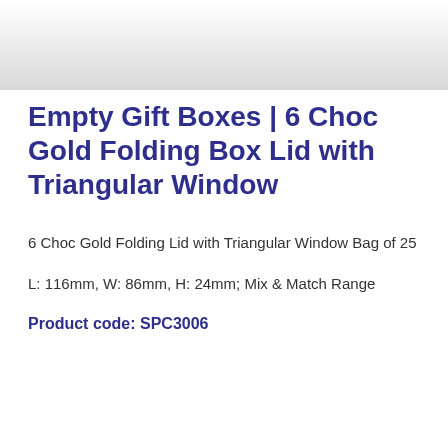Empty Gift Boxes | 6 Choc Gold Folding Box Lid with Triangular Window
6 Choc Gold Folding Lid with Triangular Window Bag of 25
L: 116mm, W: 86mm, H: 24mm; Mix & Match Range
Product code: SPC3006